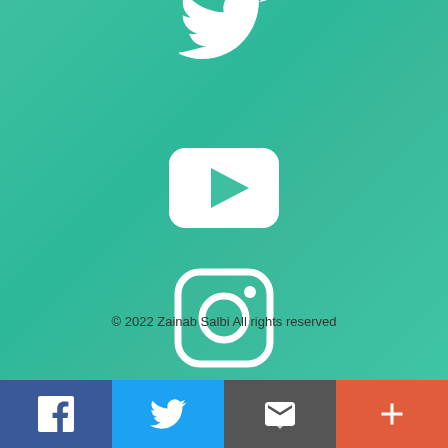[Figure (illustration): Twitter bird icon in white, partially visible at top of teal gradient background]
[Figure (illustration): YouTube play button icon in white on teal gradient background]
[Figure (illustration): Instagram camera icon in white on teal gradient background]
© 2022 Zainab Salbi All rights reserved
[Figure (infographic): Bottom share bar with four buttons: Facebook (blue, f icon), Twitter (light blue, bird icon), Email/share (grey, envelope icon), More (red-orange, plus icon)]